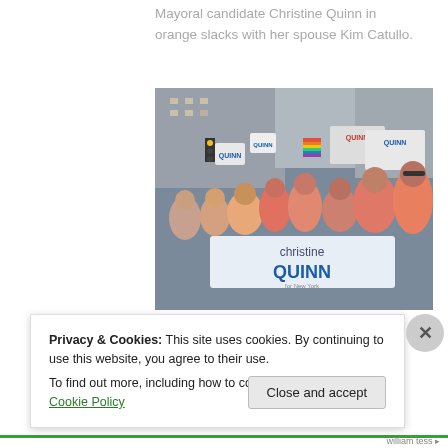Mayoral candidate Christine Quinn in orange slacks with her spouse Kim Catullo.
[Figure (photo): Crowd of supporters at a Christine Quinn mayoral campaign event, holding campaign signs reading 'QUINN' and carrying a large banner reading 'christine QUINN for New York'. Rally on a city street.]
Privacy & Cookies: This site uses cookies. By continuing to use this website, you agree to their use.
To find out more, including how to control cookies, see here: Cookie Policy
Close and accept